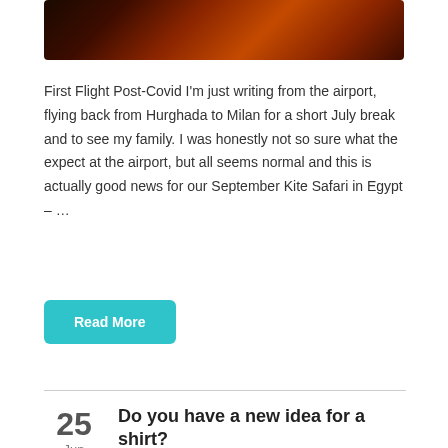[Figure (photo): Dark reddish-orange abstract background photo, cropped at top of page]
First Flight Post-Covid I'm just writing from the airport, flying back from Hurghada to Milan for a short July break and to see my family. I was honestly not so sure what the expect at the airport, but all seems normal and this is actually good news for our September Kite Safari in Egypt – …
Read More
25 Jun
Do you have a new idea for a shirt?
June 25, 2020    by Roberto Primi    in News